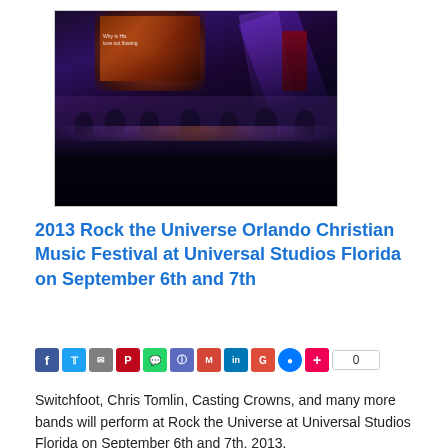[Figure (photo): Concert photo showing musicians performing on a darkened stage with purple and orange lighting, a projection screen in the background displaying text, and a large silhouetted audience in the foreground.]
2013 Rock the Universe Orlando Christian Music Festival at Universal Studios Florida on September 6th and 7th
[Figure (infographic): Social media share buttons row: Facebook, Twitter, email, Pinterest, WhatsApp, bookmark, Gmail, LinkedIn, Google, Messenger, plus button, and a share count showing 0.]
Switchfoot, Chris Tomlin, Casting Crowns, and many more bands will perform at Rock the Universe at Universal Studios Florida on September 6th and 7th, 2013.